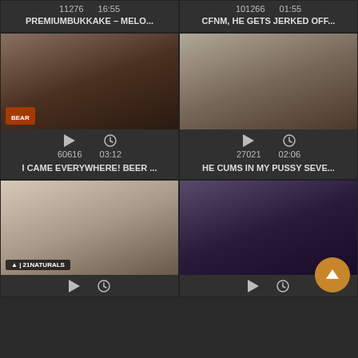11276    16:55
101266    01:55
PREMIUMBUKKAKE - MELO...
CFNM, HE GETS JERKED OFF...
[Figure (photo): Video thumbnail - adult content]
[Figure (photo): Video thumbnail - adult content]
60616    03:12
27021    02:06
I CAME EVERYWHERE! BEER ...
HE CUMS IN MY PUSSY SEVE...
[Figure (photo): Video thumbnail - adult content with 21Naturals watermark]
[Figure (photo): Video thumbnail - adult content]
Play icon and clock icon
Play icon and clock icon